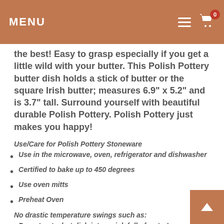MENU
the best!  Easy to grasp especially if you get a little wild with your butter. This Polish Pottery butter dish holds a stick of butter or the square Irish butter; measures 6.9" x 5.2" and is 3.7" tall.  Surround yourself with beautiful durable Polish Pottery. Polish Pottery just makes you happy!
Use/Care for Polish Pottery Stoneware
Use in the microwave, oven, refrigerator and dishwasher
Certified to bake up to 450 degrees
Use oven mitts
Preheat Oven
No drastic temperature swings such as:
Do not put a hot dish into a sink full of water!
Do not put a cold dish into the hot oven or